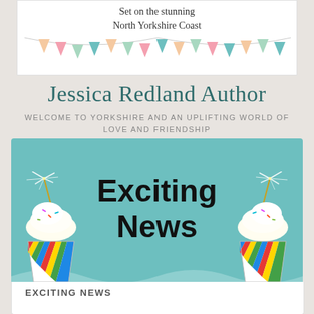[Figure (illustration): White box at top showing text 'Set on the stunning North Yorkshire Coast' with colorful bunting triangles below]
Jessica Redland Author
WELCOME TO YORKSHIRE AND AN UPLIFTING WORLD OF LOVE AND FRIENDSHIP
[Figure (illustration): Teal/turquoise banner with two decorated cupcakes with sparkler candles on left and right sides, bold black text reading 'Exciting News' in the center]
EXCITING NEWS